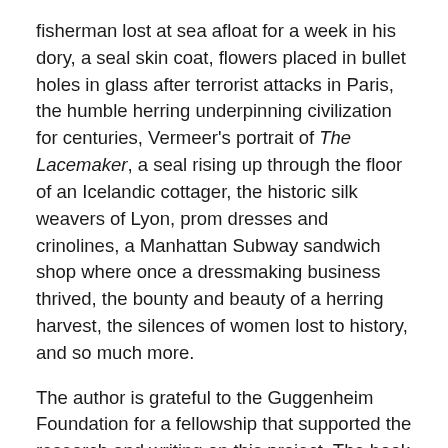fisherman lost at sea afloat for a week in his dory, a seal skin coat, flowers placed in bullet holes in glass after terrorist attacks in Paris, the humble herring underpinning civilization for centuries, Vermeer's portrait of The Lacemaker, a seal rising up through the floor of an Icelandic cottager, the historic silk weavers of Lyon, prom dresses and crinolines, a Manhattan Subway sandwich shop where once a dressmaking business thrived, the bounty and beauty of a herring harvest, the silences of women lost to history, and so much more.
The author is grateful to the Guggenheim Foundation for a fellowship that supported the research and writing on this project. The book will be published by Counterpoint Press August 2021.